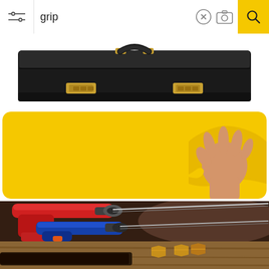[Figure (screenshot): Mobile search interface with filter/settings icon on left, search query 'grip' in text field, X (clear) button, camera icon, and yellow search button on right]
[Figure (photo): Black leather briefcase with gold clasps and handle on white background]
[Figure (photo): Yellow background with a hand breaking through, fingers spread wide, on a rounded rectangle card]
[Figure (photo): Two power drills (red and blue) with long drill bits on dark background]
[Figure (photo): Partial view of tools including brass fittings/nuts on wooden surface]